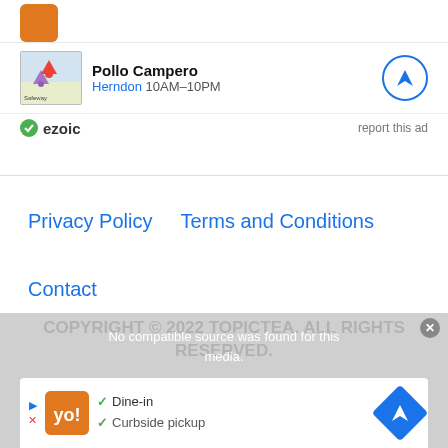[Figure (screenshot): Google Maps ad for Pollo Campero in Herndon showing map thumbnail, business name, hours 10AM-10PM, navigation button, and ezoic ad label with 'report this ad' link]
Privacy Policy   Terms and Conditions
Contact
COPYRIGHT © 2022 TOPICTEA. ALL RIGHTS RESERVED.
[Figure (screenshot): Video overlay showing 'No compatible source was found for this media.' with bottom ad showing Dine-in and Curbside pickup options]